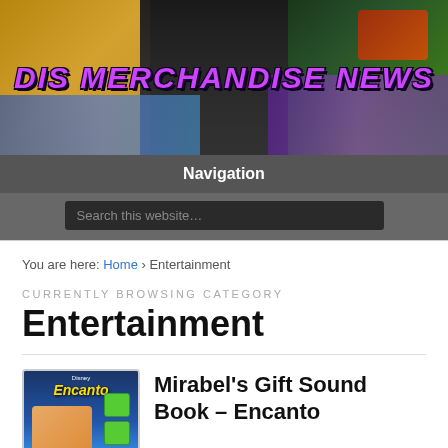[Figure (illustration): DIS Merchandise News banner with colorful Disney merchandise and characters in background, bold purple italic text reading 'DIS MERCHANDISE NEWS']
Navigation
Search this website…
You are here: Home › Entertainment
CURRENTLY BROWSING CATEGORY
Entertainment
[Figure (photo): Thumbnail image of Disney Encanto Mirabel's Gift Sound Book product]
Mirabel's Gift Sound Book – Encanto